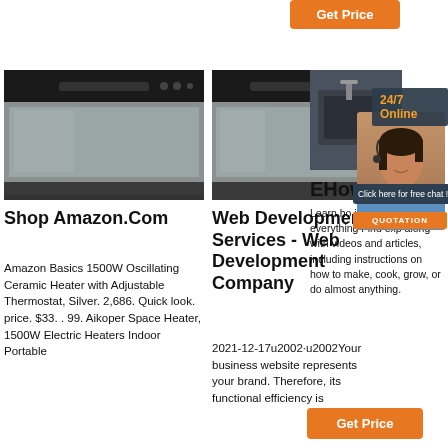[Figure (other): Orange 'Get Price' button at top right]
[Figure (photo): Stainless steel dishwasher, left column product image]
[Figure (photo): Stainless steel dishwasher, middle column product image]
[Figure (photo): Right column: kitchen sink and 24/7 Online banner with customer service agent photo, chat bubble, and QUOTATION button]
Shop Amazon.Com
Amazon Basics 1500W Oscillating Ceramic Heater with Adjustable Thermostat, Silver. 2,686. Quick look. price. $33. . 99. Aikoper Space Heater, 1500W Electric Heaters Indoor Portable
Web Development Services - Web Development Company
2021-12-17u2002·u2002Your business website represents your brand. Therefore, its functional efficiency is important for
EHow
Learn ho just about everything Find exp along with videos and articles, including instructions on how to make, cook, grow, or do almost anything.
[Figure (other): Orange 'Get Price' button at bottom right]